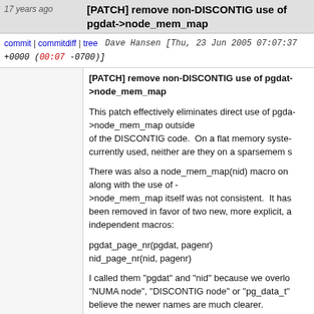[PATCH] remove non-DISCONTIG use of pgdat->node_mem_map
commit | commitdiff | tree   Dave Hansen [Thu, 23 Jun 2005 07:07:37 +0000 (00:07 -0700)]
[PATCH] remove non-DISCONTIG use of pgdat->node_mem_map

This patch effectively eliminates direct use of pgdat->node_mem_map outside of the DISCONTIG code. On a flat memory system, currently used, neither are they on a sparsemem s

There was also a node_mem_map(nid) macro on along with the use of ->node_mem_map itself was not consistent. It has been removed in favor of two new, more explicit, a independent macros:

pgdat_page_nr(pgdat, pagenr)
nid_page_nr(nid, pagenr)

I called them "pgdat" and "nid" because we overlo "NUMA node", "DISCONTIG node" or "pg_data_t" believe the newer names are much clearer.

These macros can be overridden in the sparseme slower operation using node_start_pfn and pfn_to make this the only behavior if people want, but I d much at once. One thing at a time.